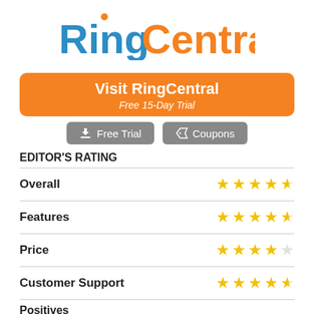[Figure (logo): RingCentral logo with blue 'Ring' and orange 'Central' text and orange dot above the i]
Visit RingCentral
Free 15-Day Trial
Free Trial   Coupons
EDITOR'S RATING
Overall — 4.5 stars
Features — 4.5 stars
Price — 4 stars
Customer Support — 4.5 stars
Positives